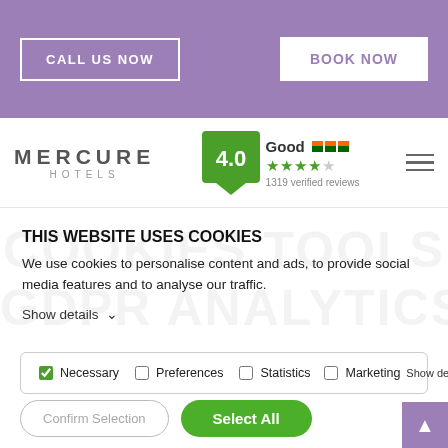CALL US NOW | BOOK NOW
[Figure (logo): Mercure Hotels logo with green 4.0 Good rating badge showing 4 stars out of 5, 1319 verified reviews, and Irish flag icons. Hamburger menu icon on right.]
THIS WEBSITE USES COOKIES
We use cookies to personalise content and ads, to provide social media features and to analyse our traffic.
Show details ∨
Necessary  Preferences  Statistics  Marketing  Show details ∨
Confirm Selection    Select All